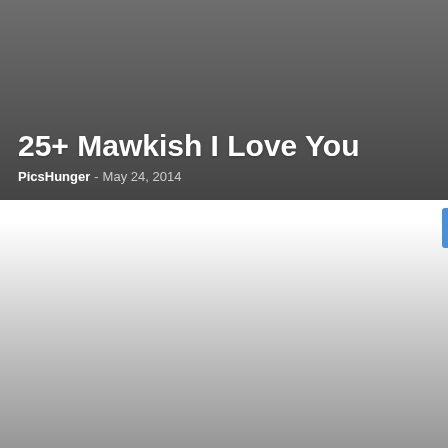[Figure (screenshot): Blog listing card for '25+ Mawkish I Love You' with dark gray gradient background, author PicsHunger, date May 24, 2014]
25+ Mawkish I Love You
PicsHunger - May 24, 2014
[Figure (screenshot): Blog listing card for '25 Stylish Quotes About Life' with light-to-dark gradient background, author PicsHunger, date Apr 17, 2014]
25 Stylish Quotes About Life
PicsHunger - Apr 17, 2014